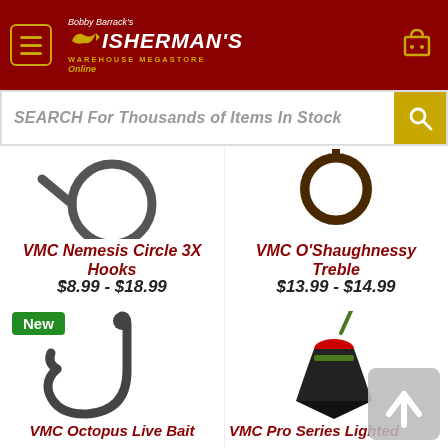[Figure (logo): Bobby Barrack's Fisherman's Warehouse Megastore Online logo with fish icon on dark red header background, hamburger menu button, and shopping cart icon]
SEARCH For Thousands of Items In Stock
[Figure (photo): VMC Nemesis Circle 3X Hooks product image showing dark fishing hook rings]
VMC Nemesis Circle 3X Hooks
$8.99 - $18.99
[Figure (photo): VMC O'Shaughnessy Treble product image showing treble hook]
VMC O'Shaughnessy Treble
$13.99 - $14.99
New
[Figure (photo): VMC Octopus Live Bait hook product image showing large dark single hook]
VMC Octopus Live Bait
[Figure (photo): VMC Pro Series Lighted fishing float/bobber product image with red cone float and green accent]
VMC Pro Series Lighted